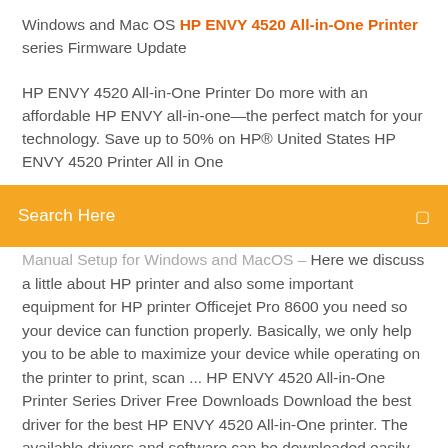Windows and Mac OS HP ENVY 4520 All-in-One Printer series Firmware Update
[Figure (screenshot): Orange search bar with 'Search Here' placeholder text and a search icon on the right]
HP ENVY 4520 All-in-One Printer Do more with an affordable HP ENVY all-in-one—the perfect match for your technology. Save up to 50% on HP® United States HP ENVY 4520 Printer All in One Manual Setup for Windows and MacOS – Here we discuss a little about HP printer and also some important equipment for HP printer Officejet Pro 8600 you need so your device can function properly. Basically, we only help you to be able to maximize your device while operating on the printer to print, scan ... HP ENVY 4520 All-in-One Printer Series Driver Free Downloads Download the best driver for the best HP ENVY 4520 All-in-One printer. The available drivers and software can be downloaded easily with the download link available. HP ENVY 4520 drivers and software support for Windows 10, 8, 7, Vista,